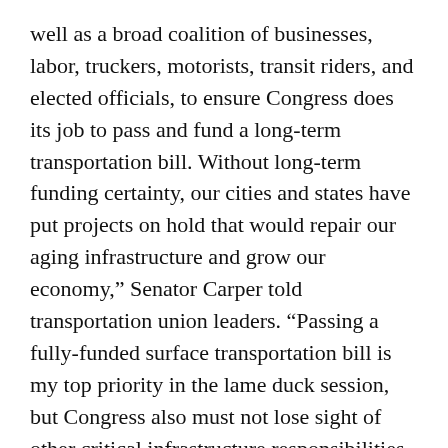well as a broad coalition of businesses, labor, truckers, motorists, transit riders, and elected officials, to ensure Congress does its job to pass and fund a long-term transportation bill. Without long-term funding certainty, our cities and states have put projects on hold that would repair our aging infrastructure and grow our economy,” Senator Carper told transportation union leaders. “Passing a fully-funded surface transportation bill is my top priority in the lame duck session, but Congress also must not lose sight of other critical infrastructure responsibilities in the rail, aviation, and port-maritime sectors. I believe that the chorus of voices supporting this initiative will be heard and Congress will do the right thing.”
Two senior officials of the Obama administration also joined the meeting to discuss the president’s goal to boost investments in and modernize our